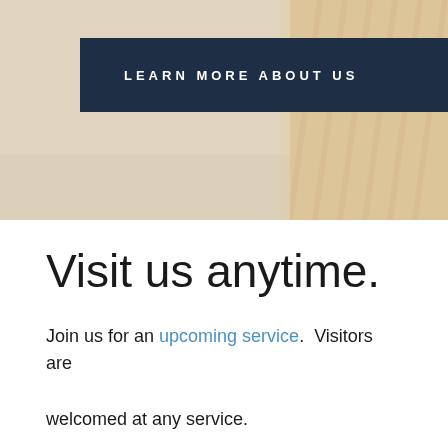[Figure (photo): Banner image showing musical instruments (harp visible) with a semi-transparent overlay and a dark navy button labeled LEARN MORE ABOUT US]
Visit us anytime.
Join us for an upcoming service.  Visitors are welcomed at any service.
What's happening this week:
Wednesday, August 24 – 7:00 p.m.